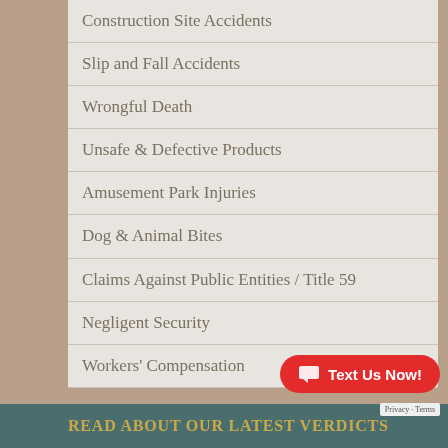Construction Site Accidents
Slip and Fall Accidents
Wrongful Death
Unsafe & Defective Products
Amusement Park Injuries
Dog & Animal Bites
Claims Against Public Entities / Title 59
Negligent Security
Workers' Compensation
Read About Our Latest Verdicts